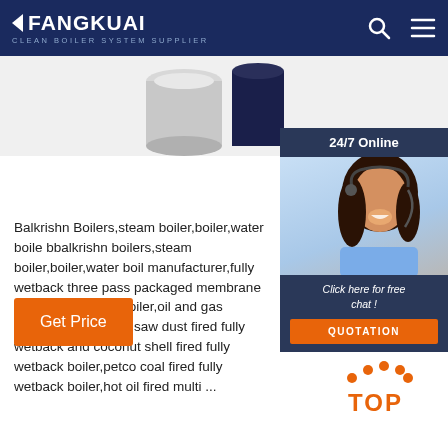FANGKUAI - Clean Boiler System Supplier
[Figure (photo): Boiler product image showing cylindrical boiler units against light background]
[Figure (photo): 24/7 Online customer service representative - woman with headset smiling]
Click here for free chat !
QUOTATION
Balkrishn Boilers,steam boiler,boiler,water boile bbalkrishn boilers,steam boiler,boiler,water boil manufacturer,fully wetback three pass packaged membrane pannel f.b.c. fired boiler,oil and gas boiler,rice husk and saw dust fired fully wetback and coconut shell fired fully wetback boiler,petco coal fired fully wetback boiler,hot oil fired multi ...
Get Price